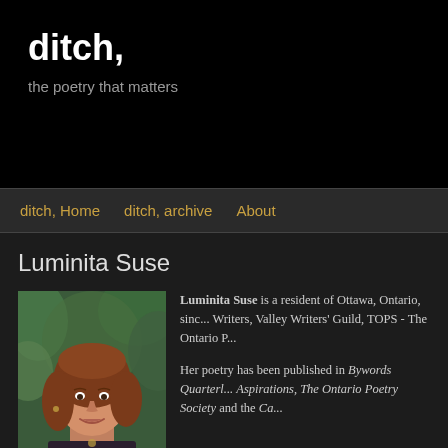ditch,
the poetry that matters
ditch, Home   ditch, archive   About
Luminita Suse
[Figure (photo): Portrait photo of Luminita Suse, a woman with reddish-brown shoulder-length hair, smiling, wearing a dark patterned top, with green foliage in the background.]
Luminita Suse is a resident of Ottawa, Ontario, sinc... Writers, Valley Writers' Guild, TOPS - The Ontario P...
Her poetry has been published in Bywords Quarterl... Aspirations, The Ontario Poetry Society and the Ca...